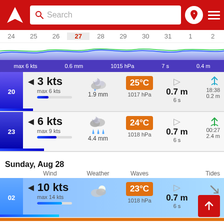[Figure (screenshot): Windguru-style marine weather app header with red background, logo, search bar, location pin icon, and hamburger menu]
[Figure (continuous-plot): Horizontal date strip showing dates 24-2, with date 27 highlighted, overlaid with blue wave chart and blue bar]
max 6 kts   0.6 mm   1015 hPa   7 s   0.4 m
20   3 kts   max 6 kts   1.9 mm   25°C   1017 hPa   0.7 m   6 s   18:38   0.2 m
23   6 kts   max 9 kts   4.4 mm   24°C   1018 hPa   0.7 m   6 s   00:27   2.4 m
Sunday, Aug 28
Wind   Weather   Waves   Tides
02   10 kts   max 14 kts   23°C   1018 hPa   0.7 m   6 s